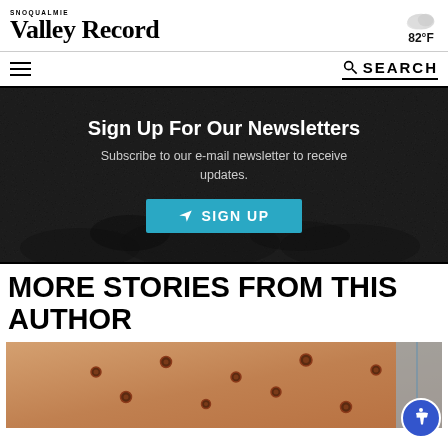Snoqualmie Valley Record — 82°F
☰  🔍 SEARCH
[Figure (infographic): Newsletter sign-up banner with dark background. Title: 'Sign Up For Our Newsletters'. Subtitle: 'Subscribe to our e-mail newsletter to receive updates.' Teal SIGN UP button with arrow icon.]
MORE STORIES FROM THIS AUTHOR
[Figure (photo): Close-up photo of skin with monkeypox lesions.]